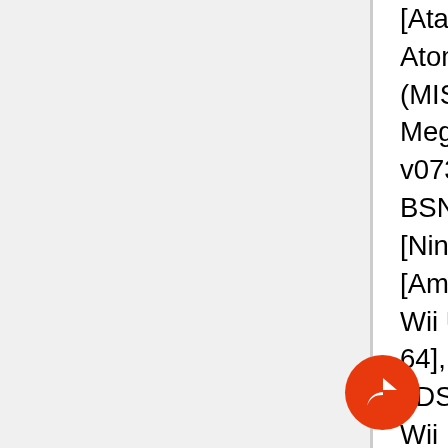[Atari 8-bit], Atomulator v1.27 [Acorn Atom], BizHawk v1.11.7 [Multi-Systems (MISC)], BlastEm v0.4.1 [Sega MegaDrive/Genesis], BSNES-CLASSIC v073u1 v2016.08.19 [Nintendo SNES], BSNES-PLUS v073+2 v2016.08.24 [Nintendo SNES], Caprice Forever v0.28 [Amstrad CPC], Cemu v1.5.6 [Nintendo Wii U], Cen64 Git v2016.09.01 [Nintendo 64], Citra Git v2016.08.30 [Nintendo 3DS], Decaf Git v2016.09.01 [Nintendo Wii U], DEmul v0.7 Alpha-20160818 [Sega Dreamcast], DeSmuME SVN r5553 [Nintendo DS], Dolphin Git v5.0–500 [Nintendo GameCube/Wii], DOSBox SVN r3991 [PC DOS (DOSBox)], DSVZ200 v2016.08.21 [Vtech Laser 200], Emu64 v5.0.12 [Commodore 64], Fceux SVN r3293 [Nintendo NES], Fuse v1.2.2 [Sinclair ZX Spectrum], Higan v101 [Multi-Systems (MISC)], JKCemu v0.9.5 [Multi-Systems (MISC)], J... v0.7 rev 7394c9b [Sony PSP], J... v2016.08.17-dev [Mattel Intellivision]